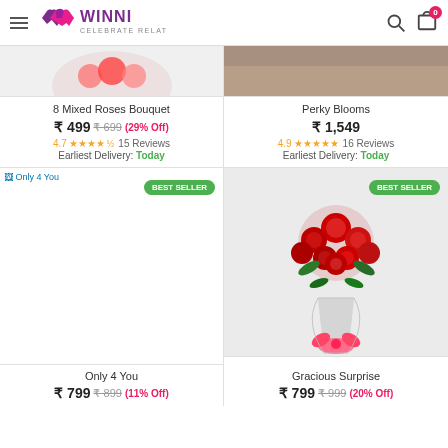WINNI - CELEBRATE RELATIONS
[Figure (screenshot): Top partial image of 8 Mixed Roses Bouquet product (cropped top)]
[Figure (screenshot): Top partial image of Perky Blooms product (cropped top, brownish background)]
8 Mixed Roses Bouquet
₹ 499  ₹ 699 (29% Off)
4.7★★★★½ 15 Reviews
Earliest Delivery: Today
Perky Blooms
₹ 1,549
4.9★★★★★ 16 Reviews
Earliest Delivery: Today
[Figure (photo): Only 4 You product image placeholder (broken image link shown)]
[Figure (photo): Gracious Surprise - bouquet of red roses wrapped in cellophane with red bow ribbon, BEST SELLER badge]
Only 4 You
₹ 799  ₹ 899 (11% Off)
Gracious Surprise
₹ 799  ₹ 999 (20% Off)